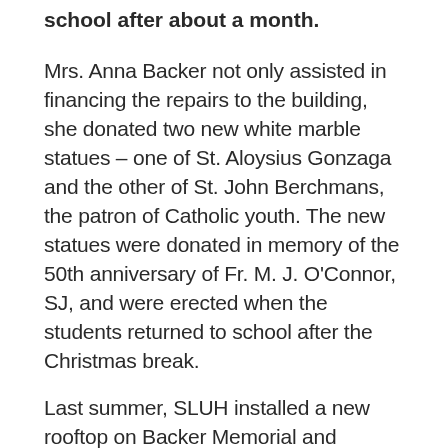school after about a month.
Mrs. Anna Backer not only assisted in financing the repairs to the building, she donated two new white marble statues – one of St. Aloysius Gonzaga and the other of St. John Berchmans, the patron of Catholic youth. The new statues were donated in memory of the 50th anniversary of Fr. M. J. O'Connor, SJ, and were erected when the students returned to school after the Christmas break.
Last summer, SLUH installed a new rooftop on Backer Memorial and opened up the skylights in the main chapel. This allows for the originally intended natural